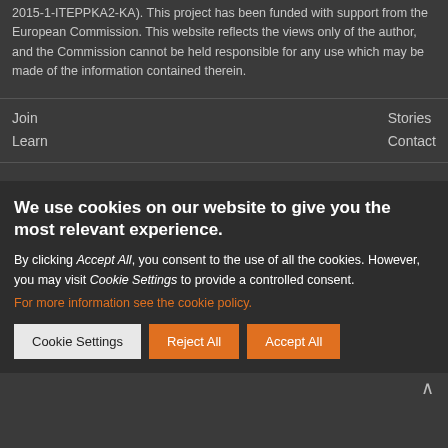2015-1-ITEPPKA2-KA). This project has been funded with support from the European Commission. This website reflects the views only of the author, and the Commission cannot be held responsible for any use which may be made of the information contained therein.
Join
Learn
Stories
Contact
We use cookies on our website to give you the most relevant experience.
By clicking Accept All, you consent to the use of all the cookies. However, you may visit Cookie Settings to provide a controlled consent. For more information see the cookie policy.
Cookie Settings | Reject All | Accept All